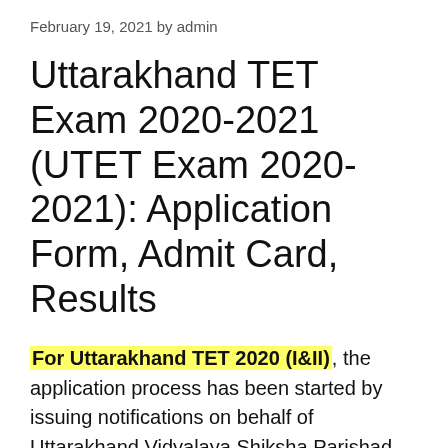February 19, 2021 by admin
Uttarakhand TET Exam 2020-2021 (UTET Exam 2020-2021): Application Form, Admit Card, Results
For Uttarakhand TET 2020 (I&II), the application process has been started by issuing notifications on behalf of Uttarakhand Vidyalaya Shiksha Parishad. The application process was to start from 29 January 2021 till 18 February 2021, which has now been extended till 22 February 2021 in Chatrahit. Candidates can fill the application form online through the due